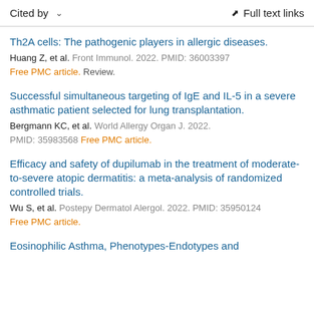Cited by    Full text links
Th2A cells: The pathogenic players in allergic diseases.
Huang Z, et al. Front Immunol. 2022. PMID: 36003397
Free PMC article. Review.
Successful simultaneous targeting of IgE and IL-5 in a severe asthmatic patient selected for lung transplantation.
Bergmann KC, et al. World Allergy Organ J. 2022. PMID: 35983568 Free PMC article.
Efficacy and safety of dupilumab in the treatment of moderate-to-severe atopic dermatitis: a meta-analysis of randomized controlled trials.
Wu S, et al. Postepy Dermatol Alergol. 2022. PMID: 35950124
Free PMC article.
Eosinophilic Asthma, Phenotypes-Endotypes and